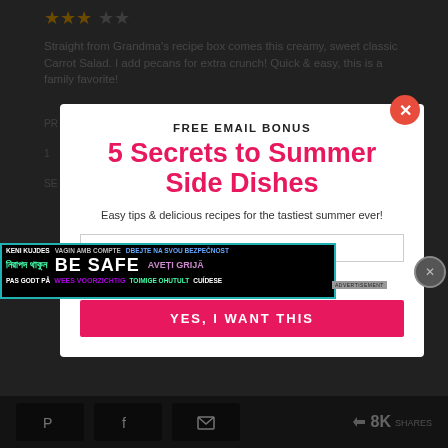[Figure (screenshot): Background page showing star rating (3 of 5 stars), recipe description text about Carrot Salad, and dimmed content behind modal overlay]
FREE EMAIL BONUS
5 Secrets to Summer Side Dishes
Easy tips & delicious recipes for the tastiest summer ever!
[Figure (infographic): BE SAFE multilingual safety advertisement banner with text in multiple languages: KENI KUJDES, VAGIN AMB COMPTE, DBEJTE NA SVOU BEZPECNOST, BE SAFE, AVETI GRIJA, PAS GODT PA, WEES VOORZICHTIG, TOIMIGE OHUTULT, CUIDESE]
YES, I WANT THIS
8K SHARES